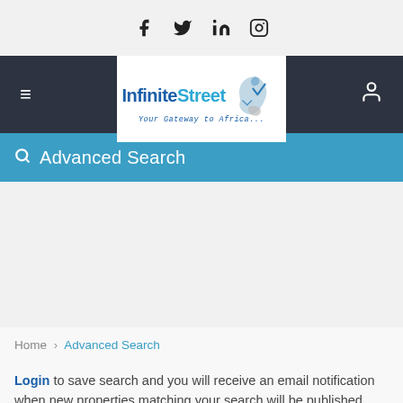Social icons: Facebook, Twitter, LinkedIn, Instagram
[Figure (logo): InfiniteStreet logo with Africa map graphic and tagline 'Your Gateway to Africa...']
Advanced Search
Home > Advanced Search
Login to save search and you will receive an email notification when new properties matching your search will be published.